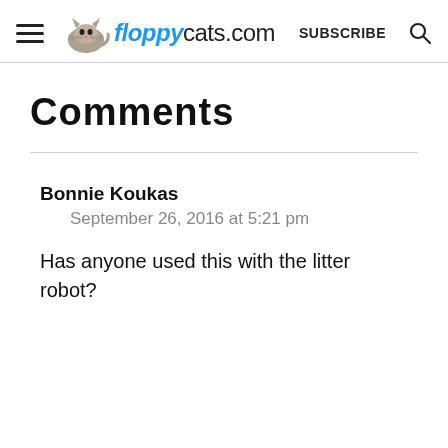floppycats.com — SUBSCRIBE
Comments
Bonnie Koukas
September 26, 2016 at 5:21 pm
Has anyone used this with the litter robot?